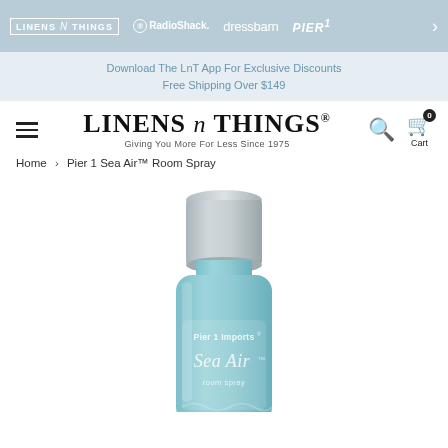LINENS n THINGS | RadioShack | dressbarn | Pier1 | >
Download The LnT App For Exclusive Discounts
Free Shipping Over $149
[Figure (logo): Linens n Things logo with tagline 'Giving You More For Less Since 1975', hamburger menu, search icon, cart icon with 0 badge]
Home > Pier 1 Sea Air™ Room Spray
[Figure (photo): Pier 1 Imports Sea Air room spray bottle — teal/turquoise aerosol can with silver cap, labeled 'Pier 1 Imports Sea Air room spray']